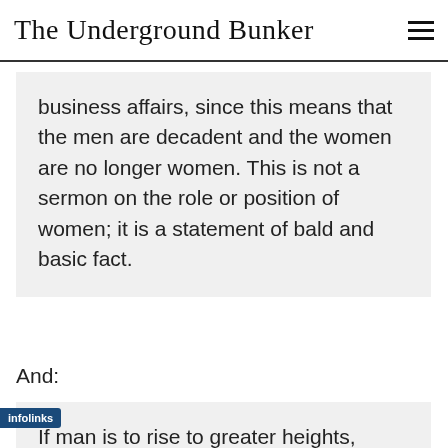The Underground Bunker
business affairs, since this means that the men are decadent and the women are no longer women. This is not a sermon on the role or position of women; it is a statement of bald and basic fact.
And:
If man is to rise to greater heights,